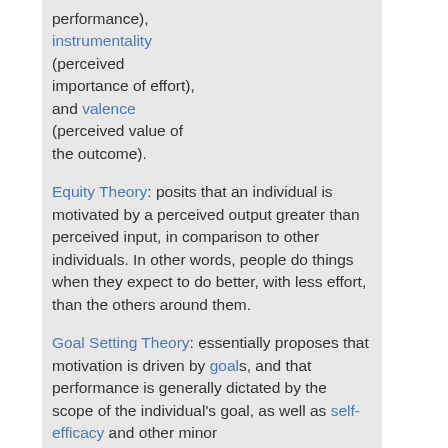performance), instrumentality (perceived importance of effort), and valence (perceived value of the outcome).
Equity Theory: posits that an individual is motivated by a perceived output greater than perceived input, in comparison to other individuals. In other words, people do things when they expect to do better, with less effort, than the others around them.
Goal Setting Theory: essentially proposes that motivation is driven by goals, and that performance is generally dictated by the scope of the individual's goal, as well as self-efficacy and other minor